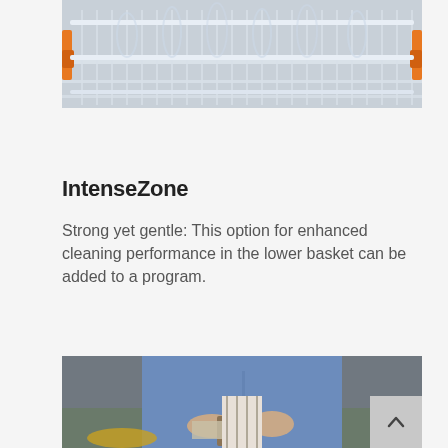[Figure (photo): Dishwasher rack/basket with glasses and dishes, white wire rack visible, orange clips on sides]
IntenseZone
Strong yet gentle: This option for enhanced cleaning performance in the lower basket can be added to a program.
[Figure (photo): Person in denim shirt chopping or preparing food in a kitchen, hands visible with knife and cloth]